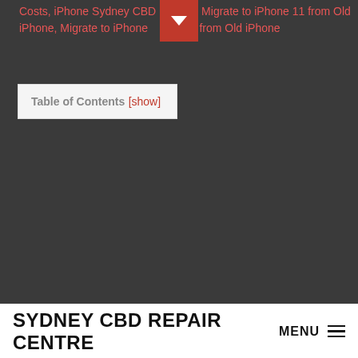Costs, iPhone Sydney CBD Repair, Migrate to iPhone 11 from Old iPhone, Migrate to iPhone Pro from Old iPhone
Table of Contents [show]
SYDNEY CBD REPAIR CENTRE MENU ≡